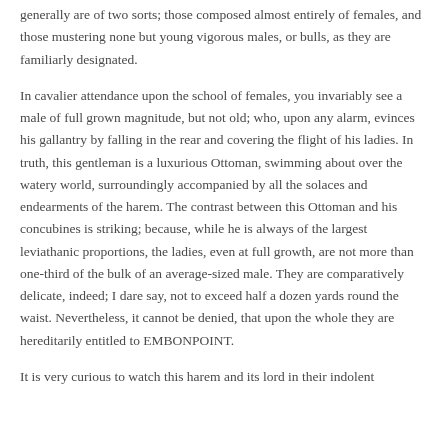generally are of two sorts; those composed almost entirely of females, and those mustering none but young vigorous males, or bulls, as they are familiarly designated.
In cavalier attendance upon the school of females, you invariably see a male of full grown magnitude, but not old; who, upon any alarm, evinces his gallantry by falling in the rear and covering the flight of his ladies. In truth, this gentleman is a luxurious Ottoman, swimming about over the watery world, surroundingly accompanied by all the solaces and endearments of the harem. The contrast between this Ottoman and his concubines is striking; because, while he is always of the largest leviathanic proportions, the ladies, even at full growth, are not more than one-third of the bulk of an average-sized male. They are comparatively delicate, indeed; I dare say, not to exceed half a dozen yards round the waist. Nevertheless, it cannot be denied, that upon the whole they are hereditarily entitled to EMBONPOINT.
It is very curious to watch this harem and its lord in their indolent